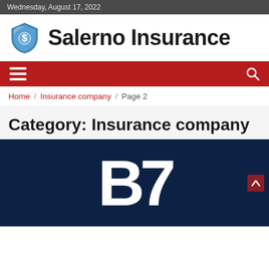Wednesday, August 17, 2022
[Figure (logo): Salerno Insurance logo with blue shield icon containing a dollar sign and bold text 'Salerno Insurance']
[Figure (infographic): Red navigation bar with hamburger menu icon on left and search icon on right]
Home / Insurance company / Page 2
Category: Insurance company
[Figure (photo): Dark navy blue image with large white letters 'B7' displayed prominently, with a small red arrow button on the right side]